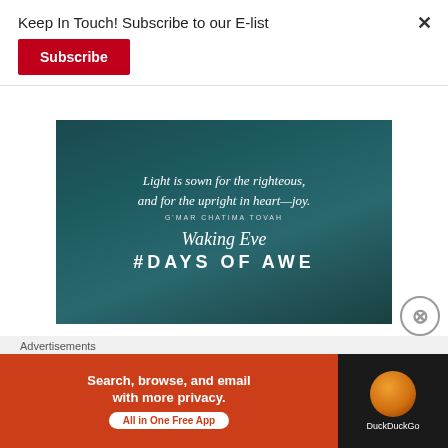Keep In Touch! Subscribe to our E-list
Subscribe
[Figure (illustration): Dark teal/blue promotional image with white text: 'Light is sown for the righteous, and for the upright in heart—joy.' G'MAR CHATIMA TOVAH, Waking Eve, #DAYS OF AWE]
YOM KIPPUR in THE DAYS OF AWE: “Light is sown for the righteous, and for the upright in
Advertisements
[Figure (screenshot): DuckDuckGo advertisement banner: 'Search, browse, and email with more privacy. All in One Free App' on orange background with DuckDuckGo logo on black background.]